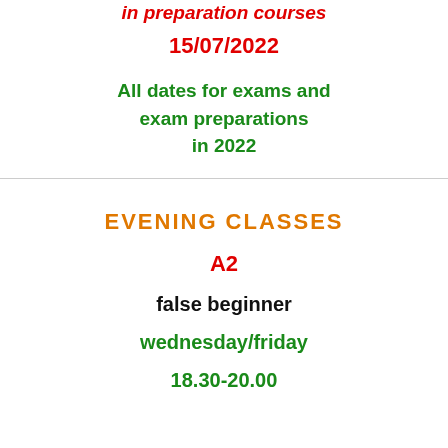in preparation courses
15/07/2022
All dates for exams and exam preparations in 2022
EVENING CLASSES
A2
false beginner
wednesday/friday
18.30-20.00